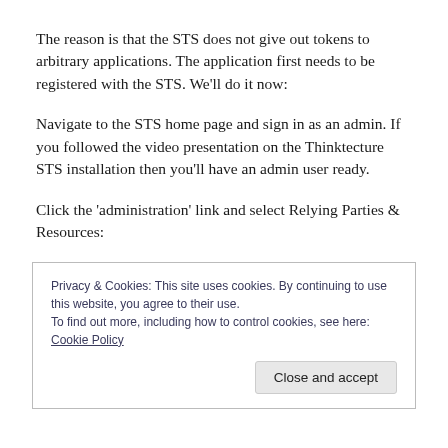The reason is that the STS does not give out tokens to arbitrary applications. The application first needs to be registered with the STS. We’ll do it now:
Navigate to the STS home page and sign in as an admin. If you followed the video presentation on the Thinktecture STS installation then you’ll have an admin user ready.
Click the ‘administration’ link and select Relying Parties & Resources:
Privacy & Cookies: This site uses cookies. By continuing to use this website, you agree to their use.
To find out more, including how to control cookies, see here: Cookie Policy
[Close and accept]